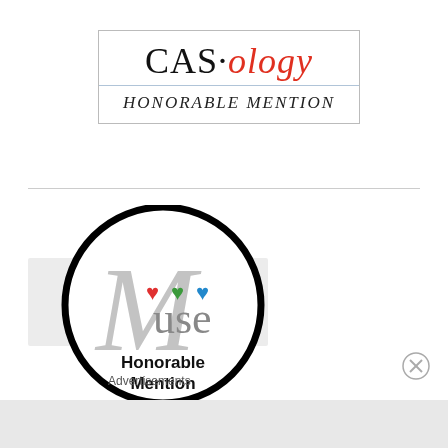[Figure (logo): CAS·ology Honorable Mention badge — rectangular bordered badge with 'CAS·ology' in large serif font (ology in red italic) on top section, and 'HONORABLE MENTION' in italic serif below a light blue divider line]
[Figure (logo): Muse Honorable Mention circular badge — thick black circle outline containing a large grey italic 'M', the word 'use' in grey with three hearts (red, green, blue) above it, and 'Honorable Mention' in bold black text below]
Advertisements